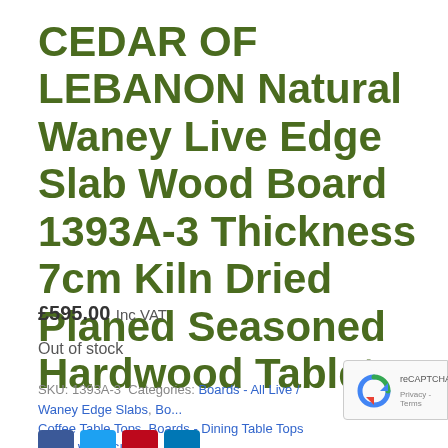CEDAR OF LEBANON Natural Waney Live Edge Slab Wood Board 1393A-3 Thickness 7cm Kiln Dried Planed Seasoned Hardwood Tabletop
£595.00 Inc VAT
Out of stock
SKU: 1393A-3 Categories: Boards - All Live / Waney Edge Slabs, Boards - Coffee Table Tops, Boards - Dining Table Tops Single Wide Slab